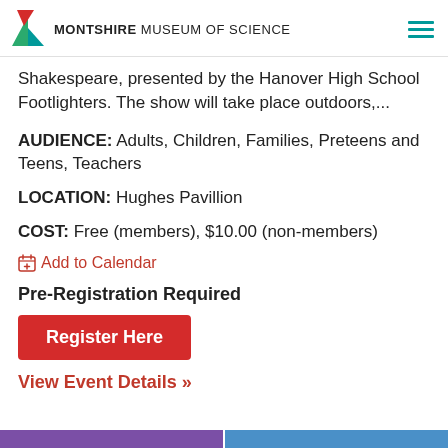MONTSHIRE MUSEUM OF SCIENCE
Shakespeare, presented by the Hanover High School Footlighters. The show will take place outdoors,...
AUDIENCE: Adults, Children, Families, Preteens and Teens, Teachers
LOCATION: Hughes Pavillion
COST: Free (members), $10.00 (non-members)
Add to Calendar
Pre-Registration Required
Register Here
View Event Details >>